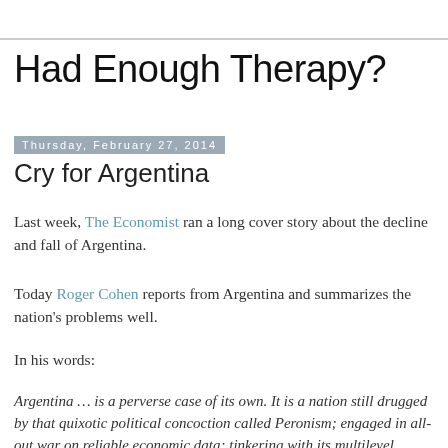Had Enough Therapy?
Thursday, February 27, 2014
Cry for Argentina
Last week, The Economist ran a long cover story about the decline and fall of Argentina.
Today Roger Cohen reports from Argentina and summarizes the nation’s problems well.
In his words:
Argentina … is a perverse case of its own. It is a nation still drugged by that quixotic political concoction called Peronism; engaged in all-out war on reliable economic data; tinkering with its multilevel exchange rate; shut out from global capital markets; trampling on property rights when it wishes; obsessed with a lost little war in the Falklands (Malvinas) more than three decades